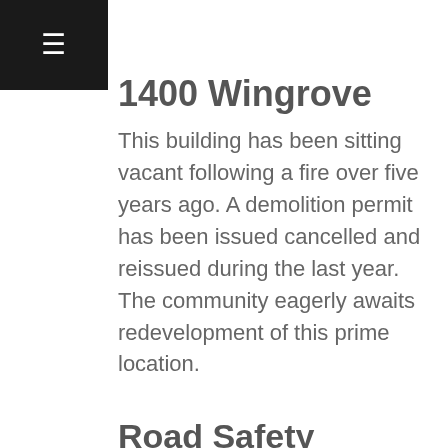1400 Wingrove
This building has been sitting vacant following a fire over five years ago. A demolition permit has been issued cancelled and reissued during the last year. The community eagerly awaits redevelopment of this prime location.
Road Safety
Over the past two years the DBNA has been lobbying the city council about reducing the speed limit along the beachfront stretch of Departure Bay Road. The limit was reduced from 50 km/h to 40 km/h in May of 2019. Some drivers persist in speeding along this